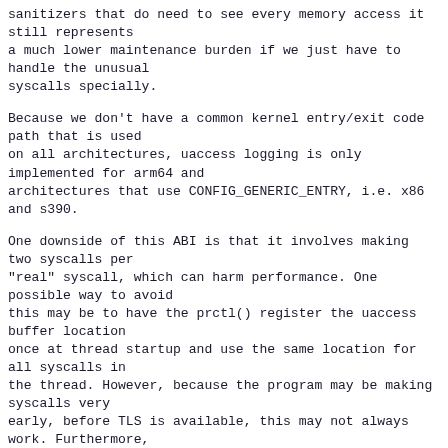sanitizers that do need to see every memory access it still represents
a much lower maintenance burden if we just have to handle the unusual
syscalls specially.
Because we don't have a common kernel entry/exit code path that is used
on all architectures, uaccess logging is only implemented for arm64 and
architectures that use CONFIG_GENERIC_ENTRY, i.e. x86 and s390.
One downside of this ABI is that it involves making two syscalls per
"real" syscall, which can harm performance. One possible way to avoid
this may be to have the prctl() register the uaccess buffer location
once at thread startup and use the same location for all syscalls in
the thread. However, because the program may be making syscalls very
early, before TLS is available, this may not always work. Furthermore,
because of the same asynchronous signal concerns that prompted temporarily
masking signals after the prctl(), the syscall stub would need to be made
reentrant, and it is unclear whether this is feasible